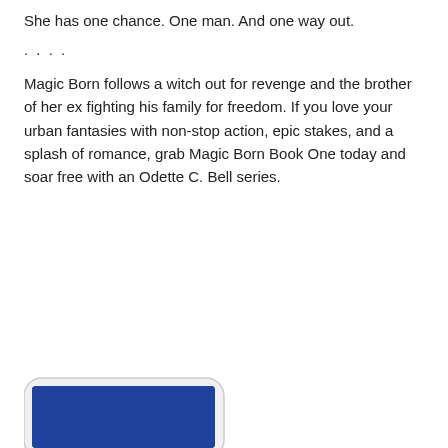She has one chance. One man. And one way out.
....
Magic Born follows a witch out for revenge and the brother of her ex fighting his family for freedom. If you love your urban fantasies with non-stop action, epic stakes, and a splash of romance, grab Magic Born Book One today and soar free with an Odette C. Bell series.
[Figure (screenshot): Blue 'READ MORE' button]
[Figure (photo): Bottom portion of a white mobile phone/tablet device]